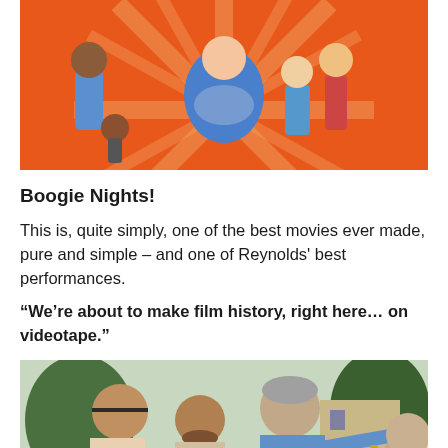[Figure (illustration): Cartoon/comic illustration on orange background showing several characters including people in various poses]
Boogie Nights!
This is, quite simply, one of the best movies ever made, pure and simple – and one of Reynolds' best performances.
“We’re about to make film history, right here… on videotape.”
[Figure (photo): Black and white or color photo showing several people outdoors, including a man with gray hair in a blue shirt gesturing with his arm outstretched]